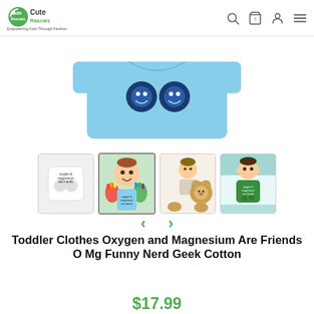[Figure (logo): Cute Rascals logo with green circular icon and tagline 'Empowering Kids Through Fashion']
[Figure (photo): Main product image: light blue children's t-shirt with two circular dark blue emoji-style faces on the front]
[Figure (photo): Thumbnail 1: White t-shirt flat lay with text 'oxygen & magnesium are friends' and two circular faces]
[Figure (photo): Thumbnail 2: Baby/toddler with colorful painted hands raised, smiling, wearing the blue t-shirt]
[Figure (photo): Thumbnail 3: Young child sitting with a stuffed bear toy]
[Figure (photo): Thumbnail 4: Boy wearing green version of the t-shirt, seated at a table]
Toddler Clothes Oxygen and Magnesium Are Friends O Mg Funny Nerd Geek Cotton
$17.99